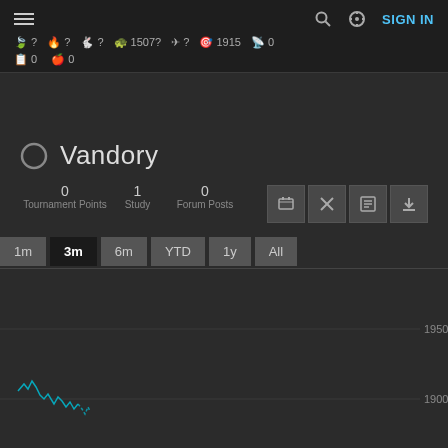≡  🔍  ⚙  SIGN IN
🍃? 🔥? 🐇? 🐢1507? ✈? 🎯1915 📡0 📋0 🍎0
Vandory
0 Tournament Points  1 Study  0 Forum Posts
[Figure (line-chart): Rating history line chart showing values between ~1900 and 1950, with a jagged line in the lower-left area around rating 1900]
1950  1900